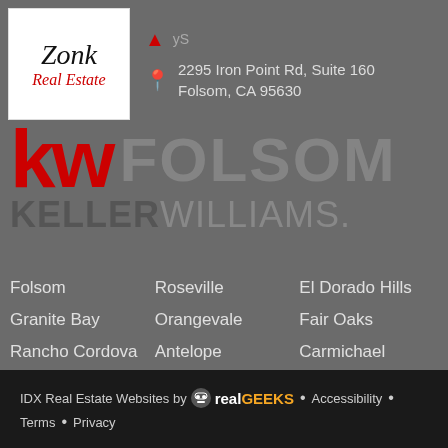[Figure (logo): Zonk Real Estate logo - handwritten style text in black and red on white background]
2295 Iron Point Rd, Suite 160
Folsom, CA 95630
[Figure (logo): Keller Williams KW Folsom logo - large red KW letters with faded FOLSOM text and KELLERWILLIAMS. below]
Folsom
Roseville
El Dorado Hills
Granite Bay
Orangevale
Fair Oaks
Rancho Cordova
Antelope
Carmichael
Sacramento
IDX Real Estate Websites by RealGeeks • Accessibility • Terms • Privacy